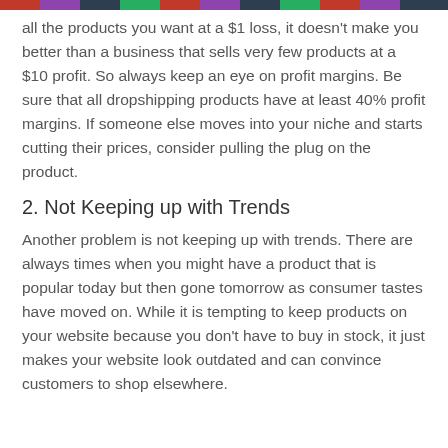all the products you want at a $1 loss, it doesn't make you better than a business that sells very few products at a $10 profit. So always keep an eye on profit margins. Be sure that all dropshipping products have at least 40% profit margins. If someone else moves into your niche and starts cutting their prices, consider pulling the plug on the product.
2. Not Keeping up with Trends
Another problem is not keeping up with trends. There are always times when you might have a product that is popular today but then gone tomorrow as consumer tastes have moved on. While it is tempting to keep products on your website because you don't have to buy in stock, it just makes your website look outdated and can convince customers to shop elsewhere.